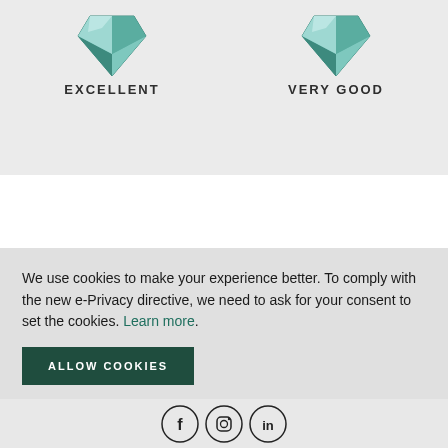[Figure (illustration): Two teal diamond gem icons side by side above the labels EXCELLENT and VERY GOOD]
EXCELLENT
VERY GOOD
[Figure (logo): Circular crest/shield logo with letter C and diamond shape, centered on a dark green horizontal bar]
COMPANY
We use cookies to make your experience better. To comply with the new e-Privacy directive, we need to ask for your consent to set the cookies. Learn more.
ALLOW COOKIES
[Figure (illustration): Social media icons: Facebook, Instagram, LinkedIn in circles]